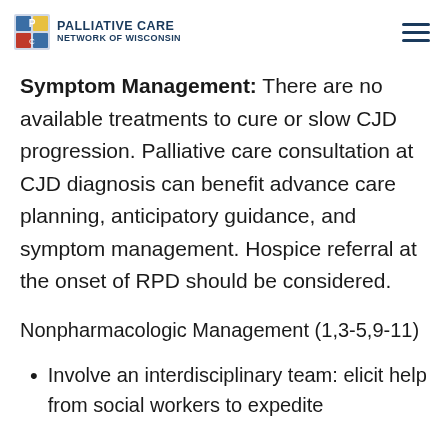PALLIATIVE CARE NETWORK OF WISCONSIN
Symptom Management: There are no available treatments to cure or slow CJD progression. Palliative care consultation at CJD diagnosis can benefit advance care planning, anticipatory guidance, and symptom management. Hospice referral at the onset of RPD should be considered.
Nonpharmacologic Management (1,3-5,9-11)
Involve an interdisciplinary team: elicit help from social workers to expedite